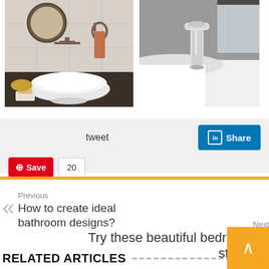[Figure (photo): Bathroom vessel sink with bronze wall-mounted faucet, round mirror, orange towel, and soap dish on dark countertop]
[Figure (photo): Modern chrome single-hole bathroom faucet on white sink with gray wall background]
tweet
[Figure (infographic): LinkedIn Share button (blue)]
[Figure (infographic): Pinterest Save button (red) with count 20]
Previous
How to create ideal bathroom designs?
Next
Try these beautiful bedroom styles
RELATED ARTICLES